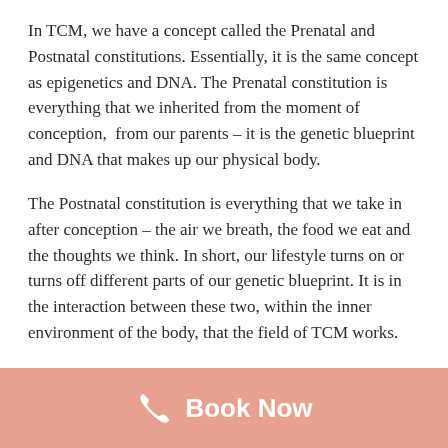In TCM, we have a concept called the Prenatal and Postnatal constitutions. Essentially, it is the same concept as epigenetics and DNA. The Prenatal constitution is everything that we inherited from the moment of conception,  from our parents – it is the genetic blueprint and DNA that makes up our physical body.
The Postnatal constitution is everything that we take in after conception – the air we breath, the food we eat and the thoughts we think. In short, our lifestyle turns on or turns off different parts of our genetic blueprint. It is in the interaction between these two, within the inner environment of the body, that the field of TCM works.
Substances which interact with our epigenetics in a positive way are known as epigenetically active
Book Now